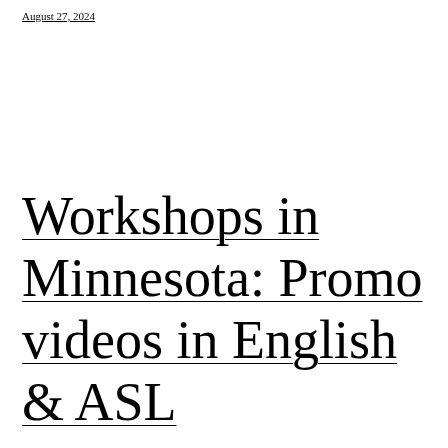August 27, 2024
Workshops in Minnesota: Promo videos in English & ASL